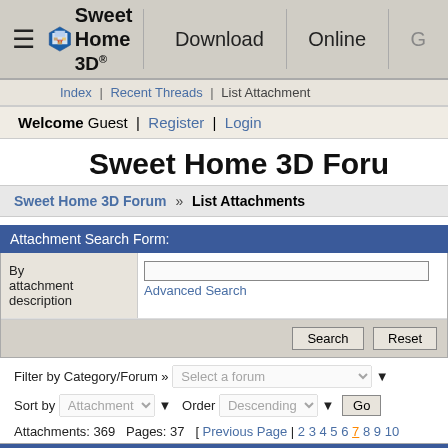[Figure (screenshot): Sweet Home 3D website navigation bar with logo, hamburger menu, Download and Online links]
Index | Recent Threads | List Attachment
Welcome Guest | Register | Login
Sweet Home 3D Foru
Sweet Home 3D Forum » List Attachments
Attachment Search Form:
By attachment description
Advanced Search
Search   Reset
Filter by Category/Forum » Select a forum
Sort by Attachment Order Descending Go
Attachments: 369   Pages: 37   [ Previous Page | 2 3 4 5 6 7 8 9 10
Image   File   Download